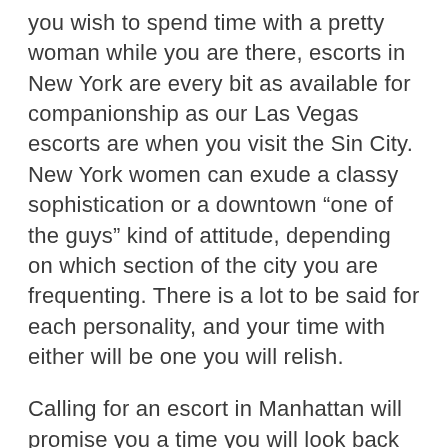you wish to spend time with a pretty woman while you are there, escorts in New York are every bit as available for companionship as our Las Vegas escorts are when you visit the Sin City. New York women can exude a classy sophistication or a downtown “one of the guys” kind of attitude, depending on which section of the city you are frequenting. There is a lot to be said for each personality, and your time with either will be one you will relish.
Calling for an escort in Manhattan will promise you a time you will look back on as one of the best traveling experiences you ever had. Your luscious beauty will be ready to hit the town and show you why the city is so energetic. You will feel like a superstar with an escort in New